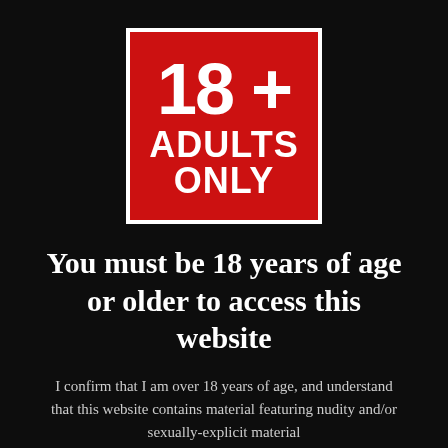[Figure (logo): Red square badge with white border containing '18+' in large bold text and 'ADULTS ONLY' below in bold white text]
You must be 18 years of age or older to access this website
I confirm that I am over 18 years of age, and understand that this website contains material featuring nudity and/or sexually-explicit material